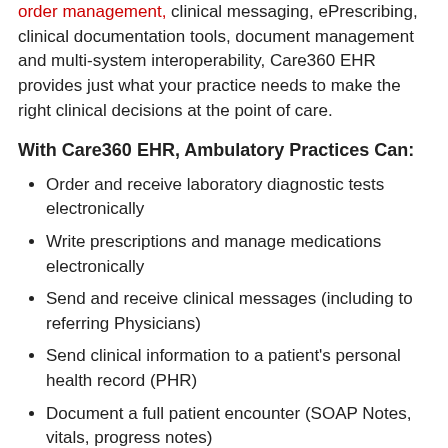order management, clinical messaging, ePrescribing, clinical documentation tools, document management and multi-system interoperability, Care360 EHR provides just what your practice needs to make the right clinical decisions at the point of care.
With Care360 EHR, Ambulatory Practices Can:
Order and receive laboratory diagnostic tests electronically
Write prescriptions and manage medications electronically
Send and receive clinical messages (including to referring Physicians)
Send clinical information to a patient's personal health record (PHR)
Document a full patient encounter (SOAP Notes, vitals, progress notes)
Scan/Import and manage paper documents, electronically